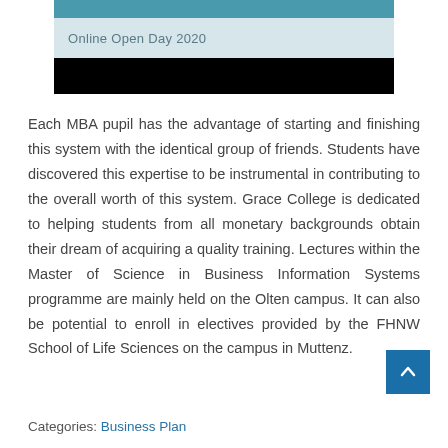[Figure (other): Header banner with teal strip, light blue section reading 'Online Open Day 2020', and a black bar below]
Each MBA pupil has the advantage of starting and finishing this system with the identical group of friends. Students have discovered this expertise to be instrumental in contributing to the overall worth of this system. Grace College is dedicated to helping students from all monetary backgrounds obtain their dream of acquiring a quality training. Lectures within the Master of Science in Business Information Systems programme are mainly held on the Olten campus. It can also be potential to enroll in electives provided by the FHNW School of Life Sciences on the campus in Muttenz.
Categories: Business Plan